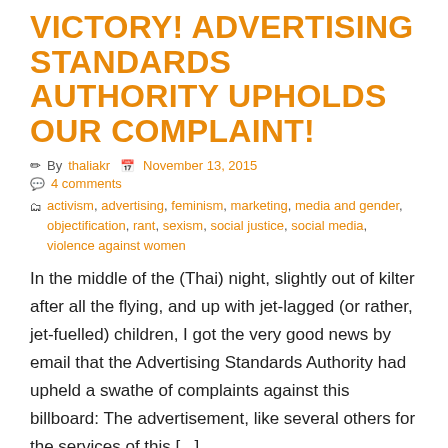VICTORY! ADVERTISING STANDARDS AUTHORITY UPHOLDS OUR COMPLAINT!
By thaliakr  November 13, 2015
4 comments
activism, advertising, feminism, marketing, media and gender, objectification, rant, sexism, social justice, social media, violence against women
In the middle of the (Thai) night, slightly out of kilter after all the flying, and up with jet-lagged (or rather, jet-fuelled) children, I got the very good news by email that the Advertising Standards Authority had upheld a swathe of complaints against this billboard: The advertisement, like several others for the services of this [...]